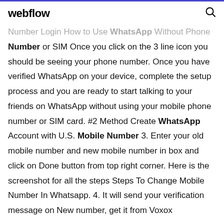webflow [search icon]
Number Login How to Use WhatsApp Without Phone Number or SIM Once you click on the 3 line icon you should be seeing your phone number. Once you have verified WhatsApp on your device, complete the setup process and you are ready to start talking to your friends on WhatsApp without using your mobile phone number or SIM card. #2 Method Create WhatsApp Account with U.S. Mobile Number 3. Enter your old mobile number and new mobile number in box and click on Done button from top right corner. Here is the screenshot for all the steps Steps To Change Mobile Number In Whatsapp. 4. It will send your verification message on New number, get it from Voxox